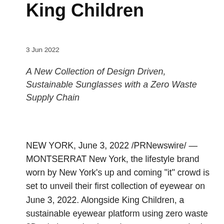King Children
3 Jun 2022
A New Collection of Design Driven, Sustainable Sunglasses with a Zero Waste Supply Chain
NEW YORK, June 3, 2022 /PRNewswire/ — MONTSERRAT New York, the lifestyle brand worn by New York's up and coming "it" crowd is set to unveil their first collection of eyewear on June 3, 2022. Alongside King Children, a sustainable eyewear platform using zero waste 3D printing technology, the two teams worked together to create two